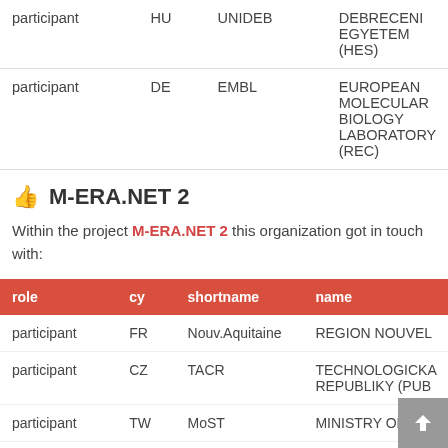| role | cy | shortname | name |
| --- | --- | --- | --- |
| participant | HU | UNIDEB | DEBRECENI EGYETEM (HES) |
| participant | DE | EMBL | EUROPEAN MOLECULAR BIOLOGY LABORATORY (REC) |
M-ERA.NET 2
Within the project M-ERA.NET 2 this organization got in touch with:
| role | cy | shortname | name |
| --- | --- | --- | --- |
| participant | FR | Nouv.Aquitaine | REGION NOUVEL... |
| participant | CZ | TACR | TECHNOLOGICKA REPUBLIKY (PUB... |
| participant | TW | MoST | MINISTRY OF SC... |